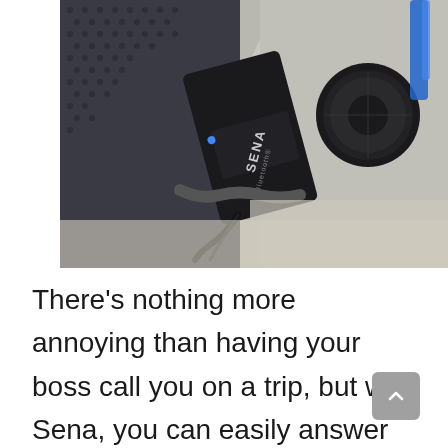[Figure (photo): Close-up photo of a Sena Bluetooth motorcycle helmet communicator device mounted on a helmet, showing the black device with 'SENA Bluetooth' branding, a round control knob, and a cable.]
There's nothing more annoying than having your boss call you on a trip, but with Sena, you can easily answer the call and